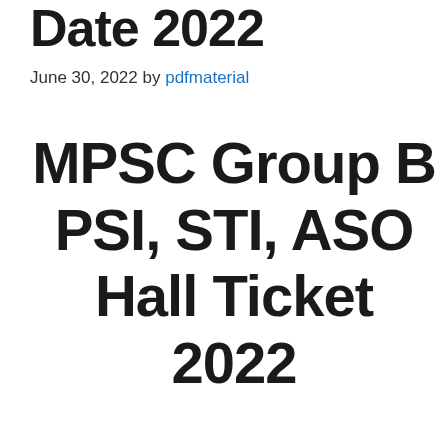Date 2022
June 30, 2022 by pdfmaterial
MPSC Group B PSI, STI, ASO Hall Ticket 2022